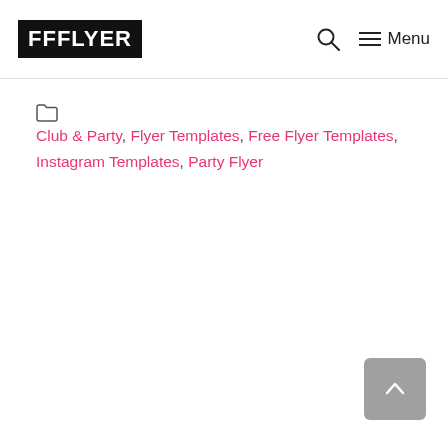FFFLYER — Menu
Club & Party, Flyer Templates, Free Flyer Templates, Instagram Templates, Party Flyer